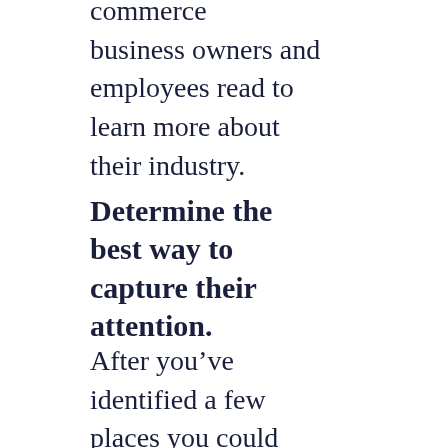commerce business owners and employees read to learn more about their industry.
Determine the best way to capture their attention.
After you've identified a few places you could reach your